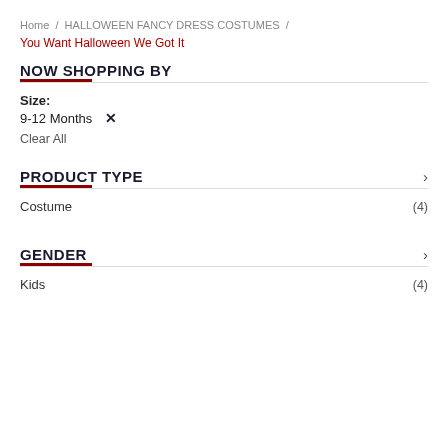Home / HALLOWEEN FANCY DRESS COSTUMES / You Want Halloween We Got It
NOW SHOPPING BY
Size:
9-12 Months ✕
Clear All
PRODUCT TYPE
Costume (4)
GENDER
Kids (4)